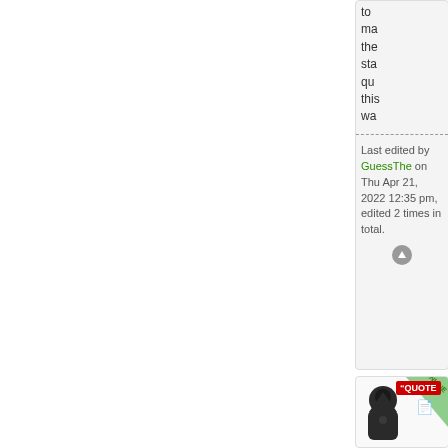to ma the sta qu this wa
Last edited by GuessThe on Thu Apr 21, 2022 12:35 pm, edited 2 times in total.
[Figure (screenshot): Scroll to top button icon]
[Figure (screenshot): ONLINE ribbon with QUOTE button, user avatar (dark hooded figure), username lfreann, Wed post date]
by lfreann » Wed